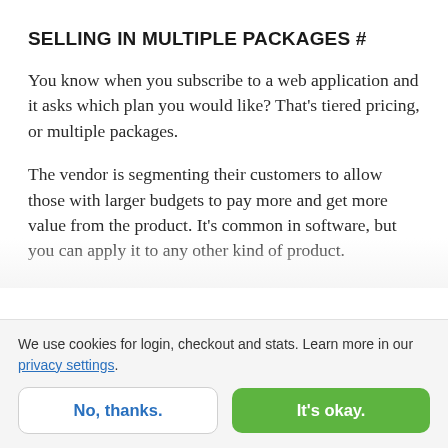SELLING IN MULTIPLE PACKAGES #
You know when you subscribe to a web application and it asks which plan you would like? That’s tiered pricing, or multiple packages.
The vendor is segmenting their customers to allow those with larger budgets to pay more and get more value from the product. It’s common in software, but you can apply it to any other kind of product
We use cookies for login, checkout and stats. Learn more in our privacy settings.